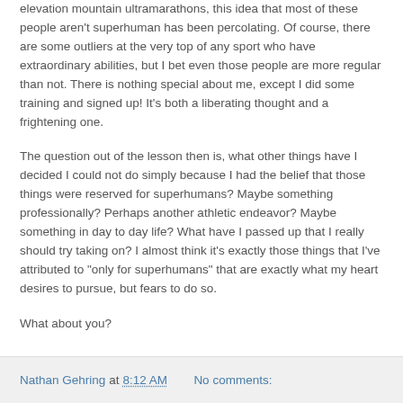elevation mountain ultramarathons, this idea that most of these people aren't superhuman has been percolating. Of course, there are some outliers at the very top of any sport who have extraordinary abilities, but I bet even those people are more regular than not. There is nothing special about me, except I did some training and signed up! It's both a liberating thought and a frightening one.
The question out of the lesson then is, what other things have I decided I could not do simply because I had the belief that those things were reserved for superhumans? Maybe something professionally? Perhaps another athletic endeavor? Maybe something in day to day life? What have I passed up that I really should try taking on? I almost think it's exactly those things that I've attributed to "only for superhumans" that are exactly what my heart desires to pursue, but fears to do so.
What about you?
Nathan Gehring at 8:12 AM   No comments: